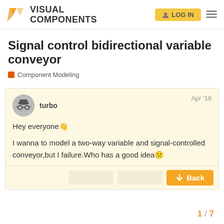VISUAL COMPONENTS
Signal control bidirectional variable conveyor
Component Modeling
turbo
Apr '19
Hey everyone👋
I wanna to model a two-way variable and signal-controlled conveyor,but I failure.Who has a good idea😕
1 / 7